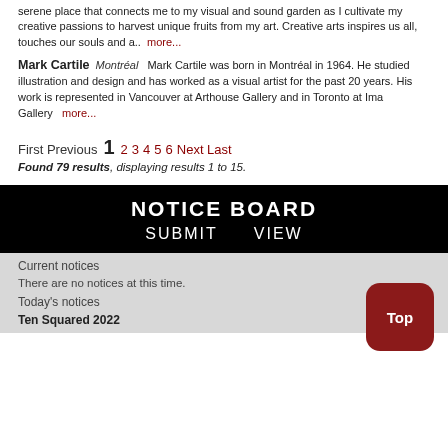serene place that connects me to my visual and sound garden as I cultivate my creative passions to harvest unique fruits from my art. Creative arts inspires us all, touches our souls and a..  more...
Mark Cartile  Montréal  Mark Cartile was born in Montréal in 1964. He studied illustration and design and has worked as a visual artist for the past 20 years. His work is represented in Vancouver at Arthouse Gallery and in Toronto at Ima Gallery    more...
First Previous  1  2 3 4 5 6  Next Last
Found 79 results, displaying results 1 to 15.
NOTICE BOARD
SUBMIT    VIEW
Current notices
There are no notices at this time.
Today's notices
Ten Squared 2022